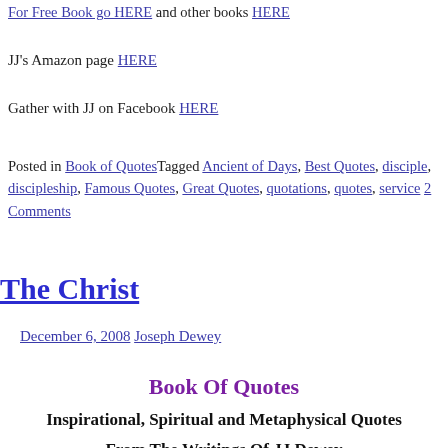For Free Book go HERE and other books HERE
JJ's Amazon page HERE
Gather with JJ on Facebook HERE
Posted in Book of Quotes Tagged Ancient of Days, Best Quotes, disciple, discipleship, Famous Quotes, Great Quotes, quotations, quotes, service 2 Comments
The Christ
December 6, 2008 Joseph Dewey
Book Of Quotes
Inspirational, Spiritual and Metaphysical Quotes
From The Writings Of JJ Dewey